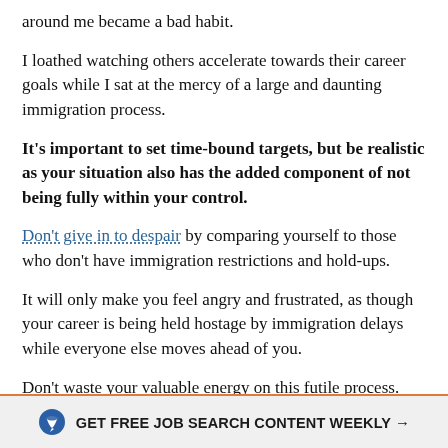around me became a bad habit.
I loathed watching others accelerate towards their career goals while I sat at the mercy of a large and daunting immigration process.
It’s important to set time-bound targets, but be realistic as your situation also has the added component of not being fully within your control.
Don’t give in to despair by comparing yourself to those who don’t have immigration restrictions and hold-ups.
It will only make you feel angry and frustrated, as though your career is being held hostage by immigration delays while everyone else moves ahead of you.
Don’t waste your valuable energy on this futile process.
GET FREE JOB SEARCH CONTENT WEEKLY →